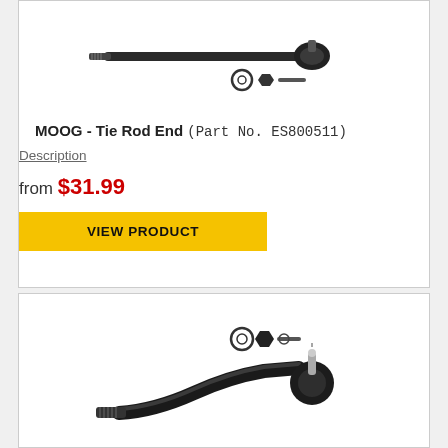[Figure (photo): MOOG Tie Rod End product photo (Part No. ES800511) showing the rod and hardware components, top view]
MOOG - Tie Rod End (Part No. ES800511)
Description
from $31.99
VIEW PRODUCT
[Figure (photo): MOOG Tie Rod End product photo showing curved rod with ball joint end and hardware components]